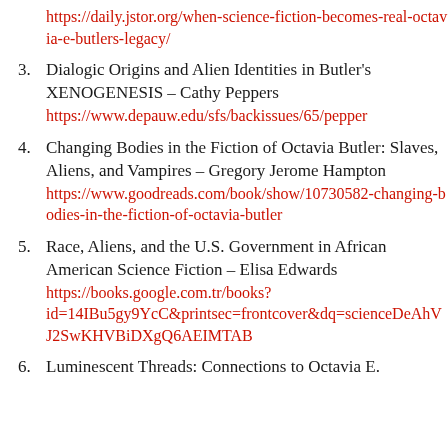https://daily.jstor.org/when-science-fiction-becomes-real-octavia-e-butlers-legacy/
3. Dialogic Origins and Alien Identities in Butler's XENOGENESIS – Cathy Peppers
https://www.depauw.edu/sfs/backissues/65/pepper
4. Changing Bodies in the Fiction of Octavia Butler: Slaves, Aliens, and Vampires – Gregory Jerome Hampton
https://www.goodreads.com/book/show/10730582-changing-bodies-in-the-fiction-of-octavia-butler
5. Race, Aliens, and the U.S. Government in African American Science Fiction – Elisa Edwards
https://books.google.com.tr/books?id=14IBu5gy9YcC&printsec=frontcover&dq=scienceDeAhVJ2SwKHVBiDXgQ6AEIMTAB
6. Luminescent Threads: Connections to Octavia E.